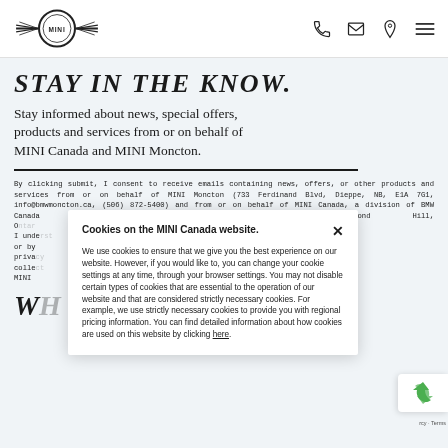MINI Canada website header with logo and navigation icons (phone, email, location, menu)
STAY IN THE KNOW.
Stay informed about news, special offers, products and services from or on behalf of MINI Canada and MINI Moncton.
By clicking submit, I consent to receive emails containing news, offers, or other products and services from or on behalf of MINI Moncton (733 Ferdinand Blvd, Dieppe, NB, E1A 7G1, info@bmwmoncton.ca, (506) 872-5400) and from or on behalf of MINI Canada, a division of BMW Canada Inc., (50 Ultimate Dr., Richmond Hill, O... 464)). I unde... ribing or by... Your priva... ill be colle... with MINI...
Cookies on the MINI Canada website.

We use cookies to ensure that we give you the best experience on our website. However, if you would like to, you can change your cookie settings at any time, through your browser settings. You may not disable certain types of cookies that are essential to the operation of our website and that are considered strictly necessary cookies. For example, we use strictly necessary cookies to provide you with regional pricing information. You can find detailed information about how cookies are used on this website by clicking here.
WH...